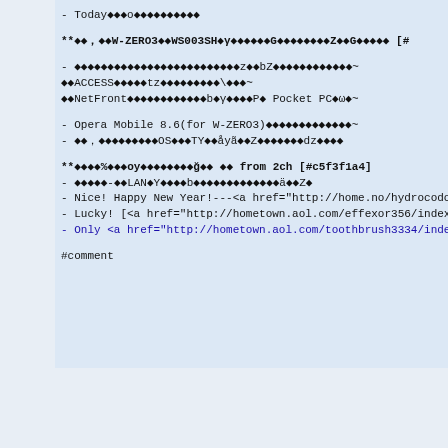- Today◆◆◆o◆◆◆◆◆◆◆◆◆◆◆
**◆◆，◆◆W-ZERO3◆◆WS003SH◆γ◆◆◆◆◆◆◆◆G◆◆◆◆◆◆◆◆◆Z◆◆G◆◆◆◆◆◆ [#
- ◆◆◆◆◆◆◆◆◆◆◆◆◆◆◆◆◆◆◆◆◆◆◆◆◆◆◆◆◆◆◆◆◆◆◆◆z◆◆bZ◆◆◆◆◆◆◆◆◆◆◆◆◆◆~◆◆ACCESS◆◆◆◆◆◆tz◆◆◆◆◆◆◆◆◆◆◆\◆◆◆~◆◆NetFront◆◆◆◆◆◆◆◆◆◆◆◆◆◆◆◆◆◆b◆◆γ◆◆◆◆◆◆◆◆P◆ Pocket PC◆ω◆~
- Opera Mobile 8.6(for W-ZERO3)◆◆◆◆◆◆◆◆◆◆◆◆◆◆◆◆~
- ◆◆，◆◆◆◆◆◆◆◆◆◆◆OS◆◆◆TY◆◆åyã◆◆Z◆◆◆◆◆◆◆◆dz◆◆◆◆
**◆◆◆◆%◆◆◆oy◆◆◆◆◆◆◆◆◆ğ◆◆ ◆◆ from 2ch [#c5f3f1a4]
- ◆◆◆◆◆-◆◆LAN◆Y◆◆◆◆◆◆◆◆◆◆◆◆◆◆◆◆◆◆◆◆◆◆◆◆◆◆
- Nice! Happy New Year!---<a href="http://home.no/hydrocodone35
- Lucky! [<a href="http://hometown.aol.com/effexor356/index.ht
- Only <a href="http://hometown.aol.com/toothbrush3334/index.h
#comment